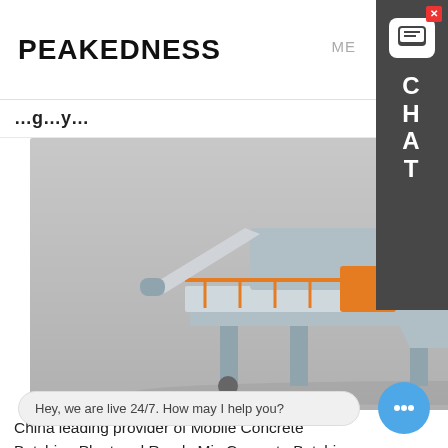PEAKEDNESS
[Figure (photo): Industrial concrete batching plant machine rendered in 3D — white and orange structure with elevated platform, conveyor, hoppers, and metal staircase.]
China leading provider of Mobile Concrete Batching Plant and Ready Mix Concrete Batching Plant, SHANDONG ENCKE Portable Automatic Concrete Batching Plant With Dual Axle And Tire... technical information: Mobile